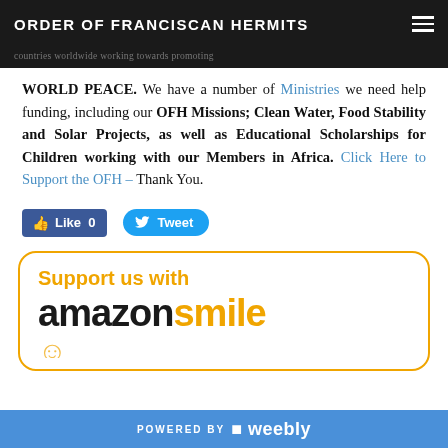ORDER OF FRANCISCAN HERMITS
WORLD PEACE. We have a number of Ministries we need help funding, including our OFH Missions; Clean Water, Food Stability and Solar Projects, as well as Educational Scholarships for Children working with our Members in Africa. Click Here to Support the OFH – Thank You.
[Figure (screenshot): Facebook Like button (0 likes) and Twitter Tweet button]
[Figure (logo): Amazon Smile banner with orange border: 'Support us with amazon smile']
POWERED BY weebly